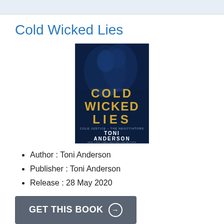Cold Wicked Lies
[Figure (photo): Book cover of 'Cold Wicked Lies' by Toni Anderson. Dark blue toned cover showing two people in close embrace. Title text 'COLD WICKED LIES' in large gold letters, subtitle 'COLD JUSTICE - THE NEGOTIATORS', author name 'TONI ANDERSON', tagline 'NEW YORK TIMES BESTSELLING AUTHOR'.]
Author : Toni Anderson
Publisher : Toni Anderson
Release : 28 May 2020
GET THIS BOOK →